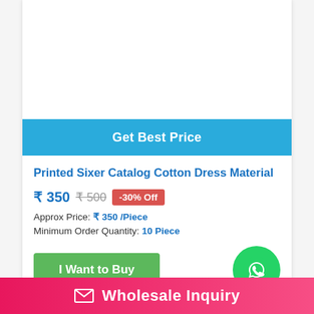[Figure (photo): White product image area for Printed Sixer Catalog Cotton Dress Material]
Get Best Price
Printed Sixer Catalog Cotton Dress Material
₹ 350  ₹500  -30% Off
Approx Price: ₹ 350 /Piece
Minimum Order Quantity: 10 Piece
I Want to Buy
Product Specification :
Wholesale Inquiry